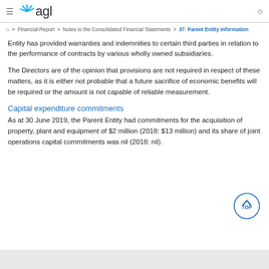AGL Financial Report - Notes to the Consolidated Financial Statements > 37. Parent Entity information
Entity has provided warranties and indemnities to certain third parties in relation to the performance of contracts by various wholly owned subsidiaries.
The Directors are of the opinion that provisions are not required in respect of these matters, as it is either not probable that a future sacrifice of economic benefits will be required or the amount is not capable of reliable measurement.
Capital expenditure commitments
As at 30 June 2019, the Parent Entity had commitments for the acquisition of property, plant and equipment of $2 million (2018: $13 million) and its share of joint operations capital commitments was nil (2018: nil).